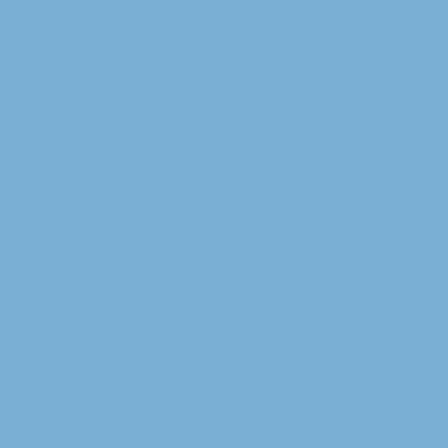Debra Cav…
Adria Chaf…
James Chil…
Mike Chisu…
Shirley Col…
Carol Colln…
Lynn Cone…
Greta Corb…
Bruce Cott…
Ken Cowli…
David Crav…
Kelly Curti…